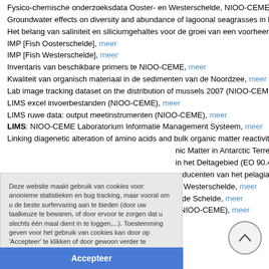Fysico-chemische onderzoeksdata Ooster- en Westerschelde, NIOO-CEME, meer
Groundwater effects on diversity and abundance of lagoonal seagrasses in Kenya a
Het belang van saliniteit en siliciumgehaltes voor de groei van een voorheen estuari
IMP [Fish Oosterschelde], meer
IMP [Fish Westerschelde], meer
Inventaris van beschikbare primers te NIOO-CEME, meer
Kwaliteit van organisch materiaal in de sedimenten van de Noordzee, meer
Lab image tracking dataset on the distribution of mussels 2007 (NIOO-CEME), meer
LIMS excel invoerbestanden (NIOO-CEME), meer
LIMS ruwe data: output meetinstrumenten (NIOO-CEME), meer
LIMS: NIOO-CEME Laboratorium Informatie Management Systeem, meer
Linking diagenetic alteration of amino acids and bulk organic matter reactivity, meer
nic Matter in Antarctic Terrestrial Ecosy
in het Deltagebied (EO 90.4.1), meer
roducenten van het pelagiaal en de be
le Westerschelde, meer
n de Schelde, meer
Oblique pictures taken at a wetland site in Maine (NIOO-CEME), meer
Deze website maakt gebruik van cookies voor: anonieme statistieken en bug tracking, maar vooral om u de beste surfervaring aan te bieden (door uw taalkeuze te bewaren, of door ervoor te zorgen dat u slechts één maal dient in te loggen,...). Toestemming geven voor het gebruik van cookies kan door op 'Accepteer' te klikken of door gewoon verder te browsen. Meer info vindt u terug in onze Privacy Policy
Accepteer